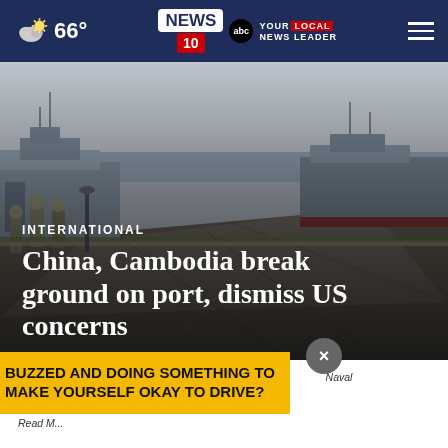66° NEWS 10 abc YOUR LOCAL NEWS LEADER
[Figure (photo): Military personnel walking on a naval pier/dock with large gray warships moored alongside, overcast sky, wide shot of port]
INTERNATIONAL
China, Cambodia break ground on port, dismiss US concerns
FILE – Chinese sailors walk past warships at a Naval Base in [location] on July 26, 2019. [Read More]
BUZZED AND DOING SOMETHING TO MAKE YOURSELF OKAY TO DRIVE?